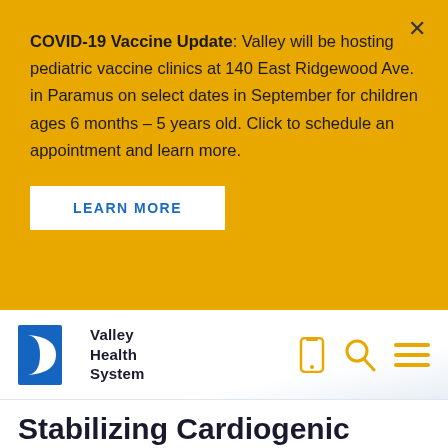COVID-19 Vaccine Update: Valley will be hosting pediatric vaccine clinics at 140 East Ridgewood Ave. in Paramus on select dates in September for children ages 6 months - 5 years old. Click to schedule an appointment and learn more.
LEARN MORE
[Figure (logo): Valley Health System logo with blue shield/crescent icon and text 'Valley Health System']
[Figure (infographic): Navigation icons: mobile phone, magnifying glass (search), and hamburger menu lines, all in golden yellow color]
Stabilizing Cardiogenic Shock After A Heart